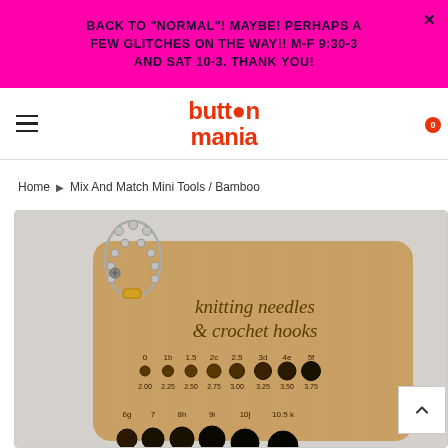BACK TO "NORMAL"! MAYBE! PERHAPS A FEW GLITCHES ON THE WAY!! M-F 9:30-3 AND SAT 10-3. THANK YOU!
[Figure (screenshot): Website navigation bar with hamburger menu, search icon, 'button mania' logo in red, user icon, and cart icon with 0 badge]
Home ▶ Mix And Match Mini Tools / Bamboo
[Figure (photo): A bamboo knitting needle and crochet hook gauge card with a ball chain keyring, engraved with 'knitting needles & crochet hooks' and multiple sized holes labeled 0-10.5 with millimeter measurements]